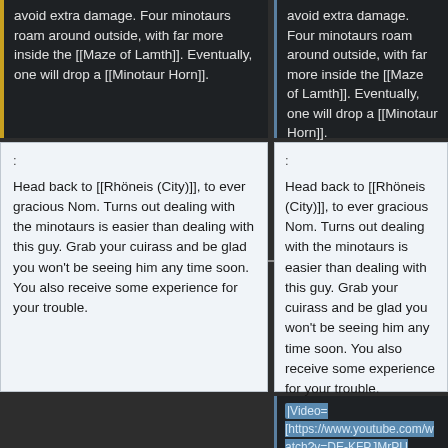avoid extra damage. Four minotaurs roam around outside, with far more inside the [[Maze of Lamth]]. Eventually, one will drop a [[Minotaur Horn]].
avoid extra damage. Four minotaurs roam around outside, with far more inside the [[Maze of Lamth]]. Eventually, one will drop a [[Minotaur Horn]].
:
:
Head back to [[Rhöneis (City)]], to ever gracious Nom. Turns out dealing with the minotaurs is easier than dealing with this guy. Grab your cuirass and be glad you won't be seeing him any time soon. You also receive some experience for your trouble.
Head back to [[Rhöneis (City)]], to ever gracious Nom. Turns out dealing with the minotaurs is easier than dealing with this guy. Grab your cuirass and be glad you won't be seeing him any time soon. You also receive some experience for your trouble.
|Video=
[https://www.youtube.com/watch?v=DE-KFPJMrPU Exiled Kingdoms Quest Walkthrough - A Safe Bet]